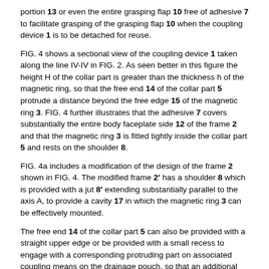portion 13 or even the entire grasping flap 10 free of adhesive 7 to facilitate grasping of the grasping flap 10 when the coupling device 1 is to be detached for reuse.
FIG. 4 shows a sectional view of the coupling device 1 taken along the line IV-IV in FIG. 2. As seen better in this figure the height H of the collar part is greater than the thickness h of the magnetic ring, so that the free end 14 of the collar part 5 protrude a distance beyond the free edge 15 of the magnetic ring 3. FIG. 4 further illustrates that the adhesive 7 covers substantially the entire body faceplate side 12 of the frame 2 and that the magnetic ring 3 is fitted tightly inside the collar part 5 and rests on the shoulder 8.
FIG. 4a includes a modification of the design of the frame 2 shown in FIG. 4. The modified frame 2' has a shoulder 8 which is provided with a jut 8' extending substantially parallel to the axis A, to provide a cavity 17 in which the magnetic ring 3 can be effectively mounted.
The free end 14 of the collar part 5 can also be provided with a straight upper edge or be provided with a small recess to engage with a corresponding protruding part on associated coupling means on the drainage pouch, so that an additional coupling aid is provided.
FIG. 5 shows a perspective, exploded view of a body waste receptacle 18 in the form of an ostomy pouch 19. The ostomy pouch 19 is constructed of